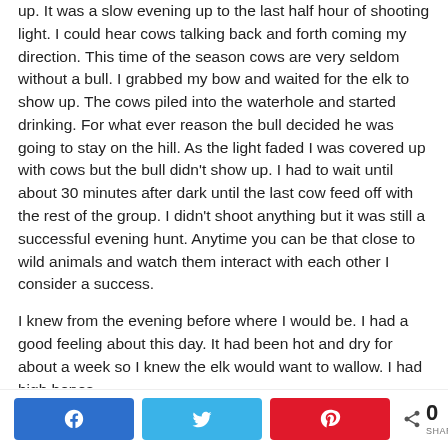up.  It was a slow evening up to the last half hour of shooting light.  I could hear cows talking back and forth coming my direction.  This time of the season cows are very seldom without a bull.   I grabbed my bow and waited for the elk to show up.  The cows piled into the waterhole and started drinking.  For what ever reason the bull decided he was going to stay on the hill.  As the light faded I was covered up with cows but the bull didn't show up.  I had to wait until about 30 minutes after dark until the last cow feed off with the rest of the group.  I didn't shoot anything but it was still a successful evening hunt.  Anytime you can be that close to wild animals and watch them interact with each other I consider a success.
I knew from the evening before where I would be.  I had a good feeling about this day.  It had been hot and dry for about a week so I knew the elk would want to wallow.  I had high hopes
[Figure (other): Social share bar with Facebook, Twitter, Pinterest buttons and a share count of 0]